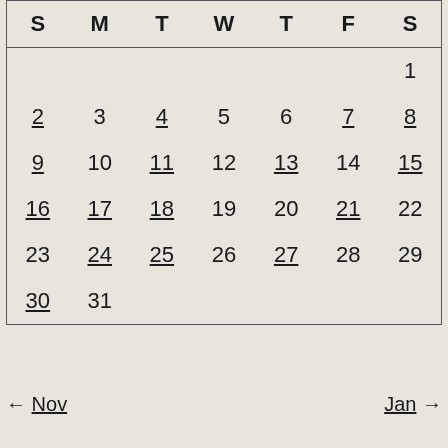| S | M | T | W | T | F | S |
| --- | --- | --- | --- | --- | --- | --- |
|  |  |  |  |  |  | 1 |
| 2 | 3 | 4 | 5 | 6 | 7 | 8 |
| 9 | 10 | 11 | 12 | 13 | 14 | 15 |
| 16 | 17 | 18 | 19 | 20 | 21 | 22 |
| 23 | 24 | 25 | 26 | 27 | 28 | 29 |
| 30 | 31 |  |  |  |  |  |
← Nov
Jan →